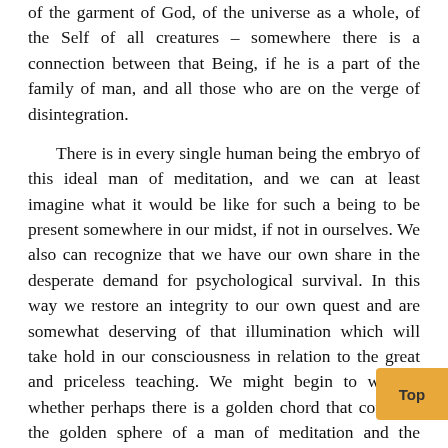of the garment of God, of the universe as a whole, of the Self of all creatures – somewhere there is a connection between that Being, if he is a part of the family of man, and all those who are on the verge of disintegration.
There is in every single human being the embryo of this ideal man of meditation, and we can at least imagine what it would be like for such a being to be present somewhere in our midst, if not in ourselves. We also can recognize that we have our own share in the desperate demand for psychological survival. In this way we restore an integrity to our own quest and are somewhat deserving of that illumination which will take hold in our consciousness in relation to the great and priceless teaching. We might begin to wonder whether perhaps there is a golden chord that connects the golden sphere of a man of meditation and the complex intermediary realms in which he must pain and anguish and awakening, by knitting together minute golden moments rescued from a great deal of